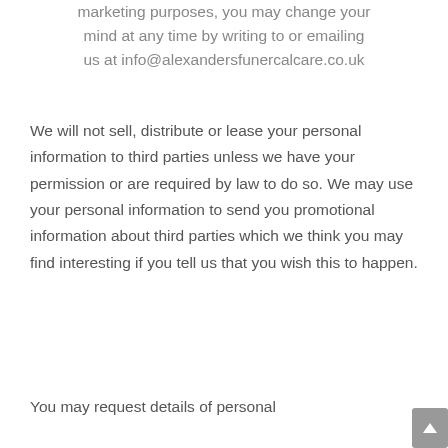marketing purposes, you may change your mind at any time by writing to or emailing us at info@alexandersfunercalcare.co.uk
We will not sell, distribute or lease your personal information to third parties unless we have your permission or are required by law to do so. We may use your personal information to send you promotional information about third parties which we think you may find interesting if you tell us that you wish this to happen.
You may request details of personal